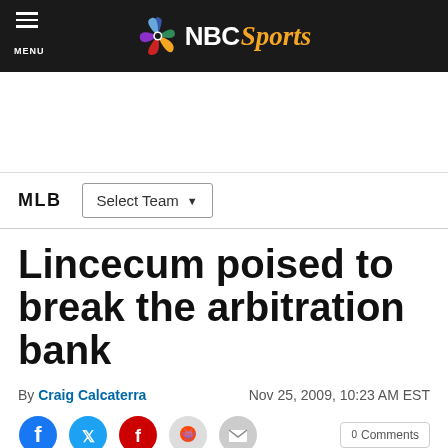NBC Sports
MLB  Select Team
Lincecum poised to break the arbitration bank
By Craig Calcaterra  Nov 25, 2009, 10:23 AM EST